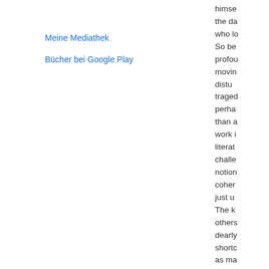Meine Mediathek
Bücher bei Google Play
himse the da who lo So be profou movin distu trago perha than a work i literat challe notion coher just u The k others dearly shortc as ma murde angui